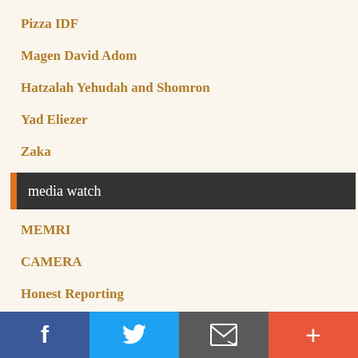Pizza IDF
Magen David Adom
Hatzalah Yehudah and Shomron
Yad Eliezer
Zaka
media watch
MEMRI
CAMERA
Honest Reporting
Palestinian Media Watch
humor
Dry Bones cartoons and blog